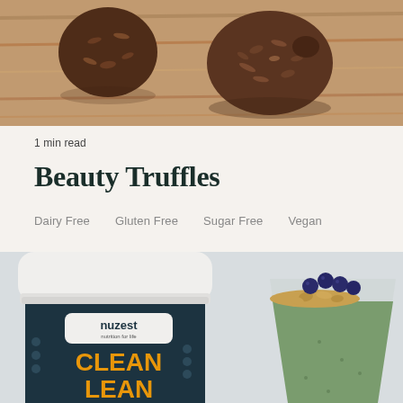[Figure (photo): Close-up photo of chocolate energy balls / truffles on a wooden surface]
1 min read
Beauty Truffles
Dairy Free   Gluten Free   Sugar Free   Vegan
[Figure (photo): Photo of a Nuzest Clean Lean protein powder container next to a green smoothie bowl topped with blueberries and granola]